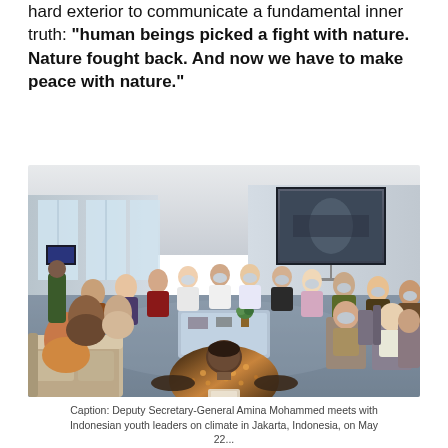hard exterior to communicate a fundamental inner truth: "human beings picked a fight with nature. Nature fought back. And now we have to make peace with nature."
[Figure (photo): A circular meeting of approximately 20 people seated in a conference room, wearing face masks. A man in a batik shirt sits in the foreground with his back to the camera. A projection screen is visible in the background.]
Caption: Deputy Secretary-General Amina Mohammed meets with Indonesian youth leaders on climate in Jakarta, Indonesia, on May 22...